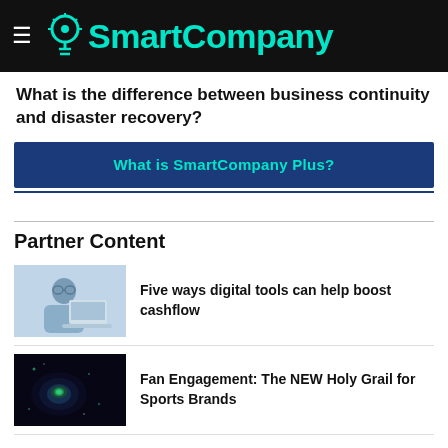SmartCompany
What is the difference between business continuity and disaster recovery?
[Figure (other): What is SmartCompany Plus? promotional banner button]
Partner Content
[Figure (photo): Woman with glasses working at a laptop]
Five ways digital tools can help boost cashflow
[Figure (photo): Dark sports tech gadget with green glow]
Fan Engagement: The NEW Holy Grail for Sports Brands